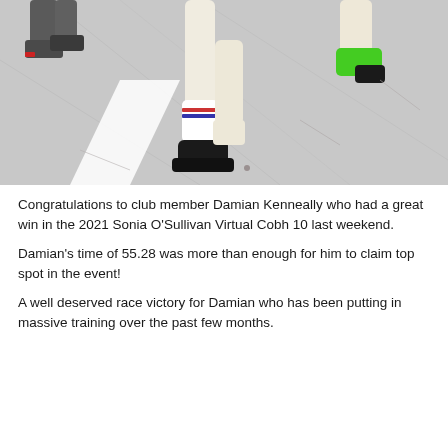[Figure (photo): Close-up photo of runners' legs on a road/pavement surface. One runner is wearing white socks with a black shoe, another runner in the background is wearing a green shoe. The photo is cropped to show only the lower legs and feet.]
Congratulations to club member Damian Kenneally who had a great win in the 2021 Sonia O'Sullivan Virtual Cobh 10 last weekend.
Damian's time of 55.28 was more than enough for him to claim top spot in the event!
A well deserved race victory for Damian who has been putting in massive training over the past few months.